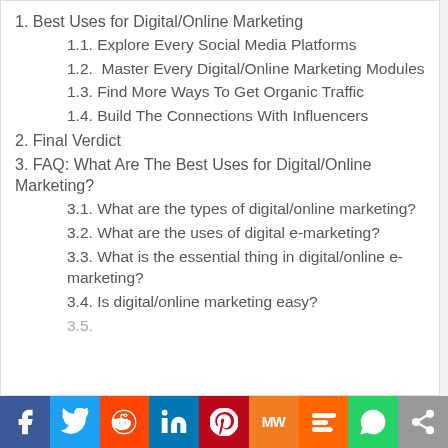1. Best Uses for Digital/Online Marketing
1.1. Explore Every Social Media Platforms
1.2. Master Every Digital/Online Marketing Modules
1.3. Find More Ways To Get Organic Traffic
1.4. Build The Connections With Influencers
2. Final Verdict
3. FAQ: What Are The Best Uses for Digital/Online Marketing?
3.1. What are the types of digital/online marketing?
3.2. What are the uses of digital e-marketing?
3.3. What is the essential thing in digital/online e-marketing?
3.4. Is digital/online marketing easy?
3.5. Something... (partially visible)
[Figure (infographic): Social media share bar with icons for Facebook, Twitter, Reddit, LinkedIn, Pinterest, MW, Mix, WhatsApp, and More]